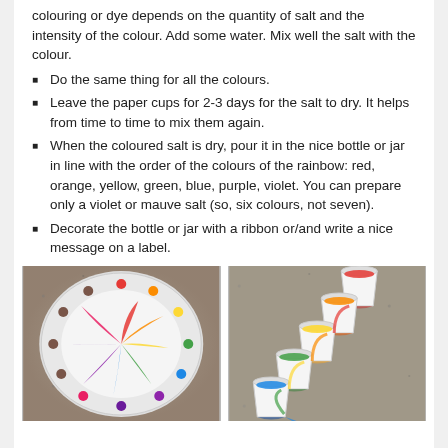colouring or dye depends on the quantity of salt and the intensity of the colour. Add some water. Mix well the salt with the colour.
Do the same thing for all the colours.
Leave the paper cups for 2-3 days for the salt to dry. It helps from time to time to mix them again.
When the coloured salt is dry, pour it in the nice bottle or jar in line with the order of the colours of the rainbow: red, orange, yellow, green, blue, purple, violet. You can prepare only a violet or mauve salt (so, six colours, not seven).
Decorate the bottle or jar with a ribbon or/and write a nice message on a label.
[Figure (photo): A white plate on a granite surface with colorful candy pieces arranged in a circle, producing a rainbow swirl pattern radiating from the center.]
[Figure (photo): A series of paper cups arranged vertically on a granite surface, each filled with different colored liquids (red, orange, yellow, green, blue), with color flowing between them.]